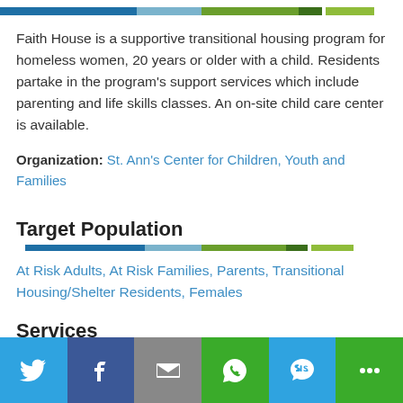[Figure (other): Decorative multi-color segmented horizontal bar at top of page]
Faith House is a supportive transitional housing program for homeless women, 20 years or older with a child. Residents partake in the program's support services which include parenting and life skills classes. An on-site child care center is available.
Organization: St. Ann's Center for Children, Youth and Families
Target Population
[Figure (other): Decorative multi-color segmented horizontal bar under Target Population header]
At Risk Adults, At Risk Families, Parents, Transitional Housing/Shelter Residents, Females
Services
[Figure (other): Decorative multi-color segmented horizontal bar under Services header]
Homeless Shelter
[Figure (other): Social sharing bar at bottom with Twitter, Facebook, Email, WhatsApp, SMS, More buttons]